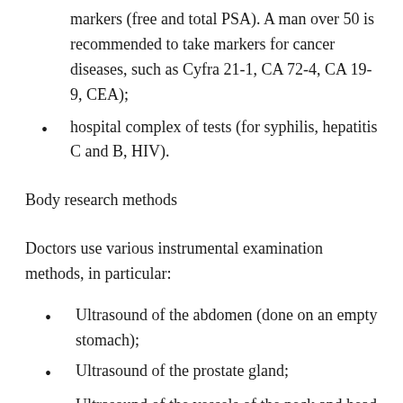markers (free and total PSA). A man over 50 is recommended to take markers for cancer diseases, such as Cyfra 21-1, CA 72-4, CA 19-9, CEA);
hospital complex of tests (for syphilis, hepatitis C and B, HIV).
Body research methods
Doctors use various instrumental examination methods, in particular:
Ultrasound of the abdomen (done on an empty stomach);
Ultrasound of the prostate gland;
Ultrasound of the vessels of the neck and head (brachiocephalic vessels), relevant